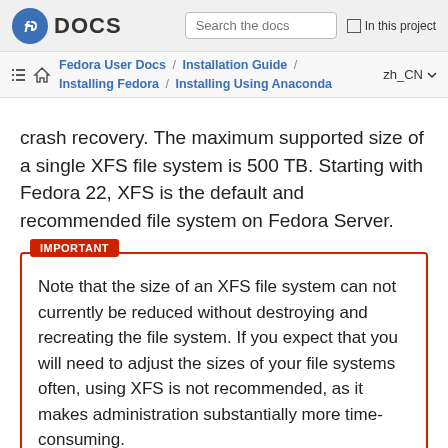DOCS | Search the docs | In this project
Fedora User Docs / Installation Guide / Installing Fedora / Installing Using Anaconda | zh_CN
crash recovery. The maximum supported size of a single XFS file system is 500 TB. Starting with Fedora 22, XFS is the default and recommended file system on Fedora Server.
IMPORTANT
Note that the size of an XFS file system can not currently be reduced without destroying and recreating the file system. If you expect that you will need to adjust the sizes of your file systems often, using XFS is not recommended, as it makes administration substantially more time-consuming.